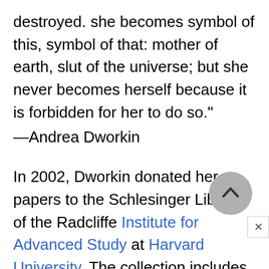destroyed. she becomes symbol of this, symbol of that: mother of earth, slut of the universe; but she never becomes herself because it is forbidden for her to do so."
—Andrea Dworkin
In 2002, Dworkin donated her papers to the Schlesinger Library of the Radcliffe Institute for Advanced Study at Harvard University. The collection includes traditional types of material, including personal and professional